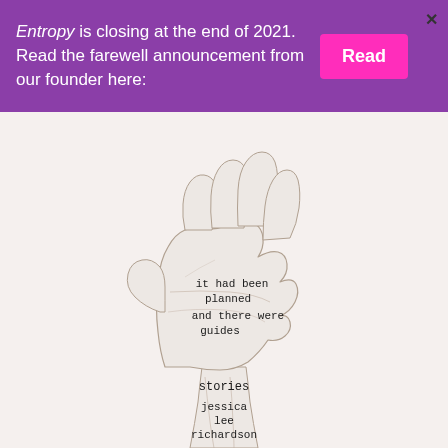Entropy is closing at the end of 2021. Read the farewell announcement from our founder here:
[Figure (illustration): Pencil sketch of an open hand (palm facing viewer) with text written on the palm reading 'it had been planned and there were guides', and text on the wrist reading 'stories / jessica / lee / richardson']